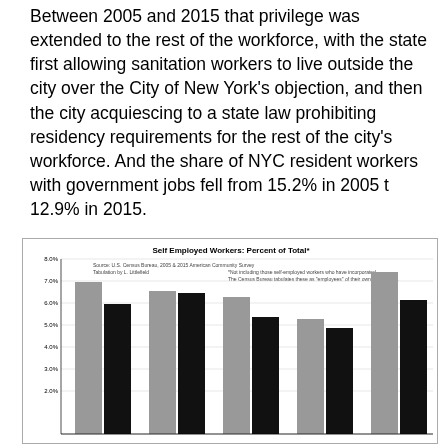Between 2005 and 2015 that privilege was extended to the rest of the workforce, with the state first allowing sanitation workers to live outside the city over the City of New York's objection, and then the city acquiescing to a state law prohibiting residency requirements for the rest of the city's workforce. And the share of NYC resident workers with government jobs fell from 15.2% in 2005 t 12.9% in 2015.
[Figure (grouped-bar-chart): Grouped bar chart showing self-employed workers as percent of total for 2005 (gray) and 2015 (black). Source: U.S. Census Bureau, 2005 & 2015 American Community Survey. Tabulation by L. Littlefield. *Not including those self-employed workers who have incorporated. The Census Bureau tabulates these as 'employees' of their own corporation.]